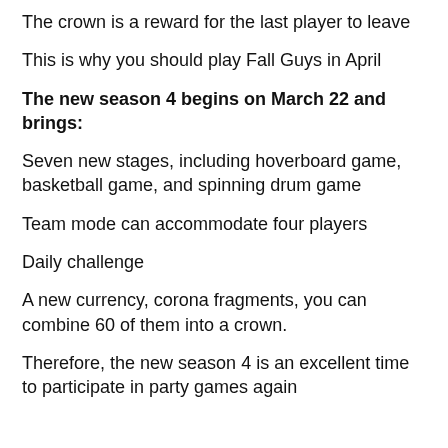The crown is a reward for the last player to leave
This is why you should play Fall Guys in April
The new season 4 begins on March 22 and brings:
Seven new stages, including hoverboard game, basketball game, and spinning drum game
Team mode can accommodate four players
Daily challenge
A new currency, corona fragments, you can combine 60 of them into a crown.
Therefore, the new season 4 is an excellent time to participate in party games again